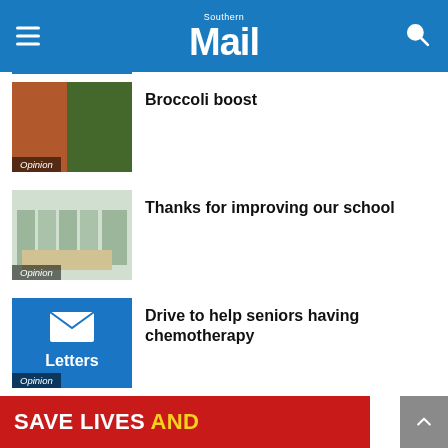Southern Mail
[Figure (photo): Man in orange jacket outdoors near greenery, Opinion badge]
Broccoli boost
[Figure (photo): School library interior with bookshelves and tables, Opinion badge]
Thanks for improving our school
[Figure (illustration): Blue Letters logo with envelope icon, Opinion badge]
Drive to help seniors having chemotherapy
[Figure (infographic): Red advertisement banner reading SAVE LIVES AND...]